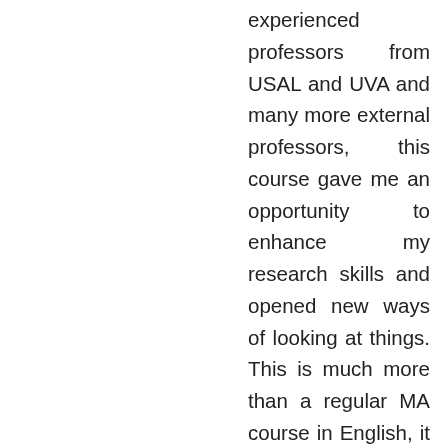experienced professors from USAL and UVA and many more external professors, this course gave me an opportunity to enhance my research skills and opened new ways of looking at things. This is much more than a regular MA course in English, it is a truly multidisciplinary program that gives students the possibility to combine their different research interests, and learn and apply theories from various domains. Spain provides a very interesting non-anglophone angle to the course and in a way helps to open new horizons to think out-of-the-box